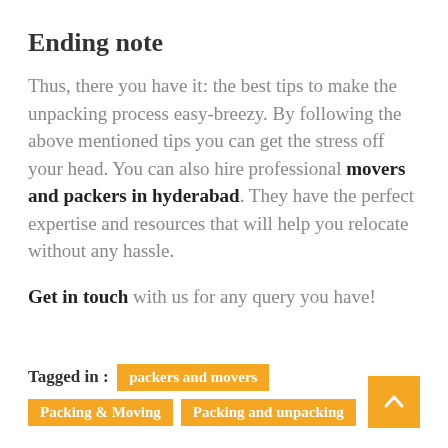Ending note
Thus, there you have it: the best tips to make the unpacking process easy-breezy. By following the above mentioned tips you can get the stress off your head. You can also hire professional movers and packers in hyderabad. They have the perfect expertise and resources that will help you relocate without any hassle.
Get in touch with us for any query you have!
Tagged in : packers and movers  Packing & Moving  Packing and unpacking